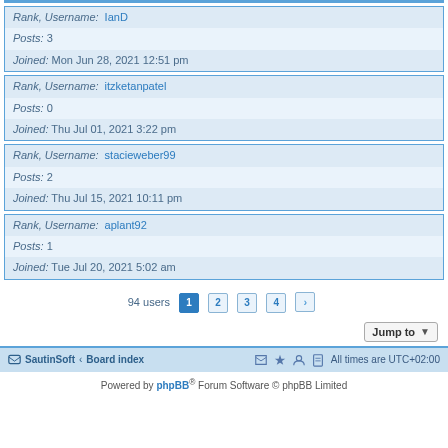| Field | Value |
| --- | --- |
| Rank, Username: | IanD |
| Posts: | 3 |
| Joined: | Mon Jun 28, 2021 12:51 pm |
| Rank, Username: | itzketanpatel |
| Posts: | 0 |
| Joined: | Thu Jul 01, 2021 3:22 pm |
| Rank, Username: | stacieweber99 |
| Posts: | 2 |
| Joined: | Thu Jul 15, 2021 10:11 pm |
| Rank, Username: | aplant92 |
| Posts: | 1 |
| Joined: | Tue Jul 20, 2021 5:02 am |
94 users  1  2  3  4  >
Jump to
SautinSoft · Board index   All times are UTC+02:00
Powered by phpBB® Forum Software © phpBB Limited